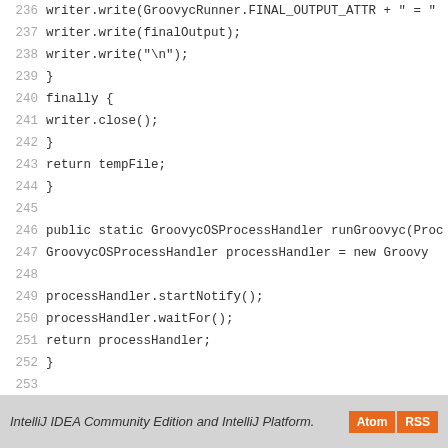[Figure (screenshot): Source code viewer showing Java code lines 236-264 with line numbers on the left in gray and code content on the right in dark text on white background.]
IntelliJ IDEA Community Edition and IntelliJ Platform.   Atom  RSS